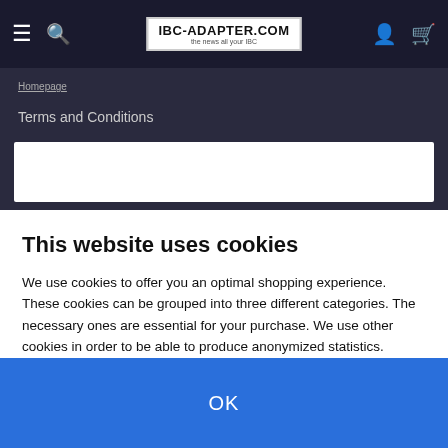[Figure (screenshot): Website navigation bar with hamburger menu, search icon, IBC-ADAPTER.COM logo, user icon, and cart icon on dark background]
Homepage
Terms and Conditions
This website uses cookies
We use cookies to offer you an optimal shopping experience. These cookies can be grouped into three different categories. The necessary ones are essential for your purchase. We use other cookies in order to be able to produce anonymized statistics. Others serve primarily marketing purposes and are used for the personalization of advertising. These cookies are used by 9 Services used in the shop. You can decide for yourself which cookies you want to allow. View Details
OK